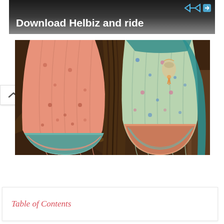[Figure (photo): Advertisement banner with dark background showing a scooter handlebar and text 'Download Helbiz and ride' in white bold font, with a share/forward icon in top right corner]
[Figure (photo): Photograph of colorful Indian traditional lehenga/skirt garments on the ground - a peach/coral colored one on the left with teal border and a teal/green one on the right with floral embroidery, set on a brown earthen floor]
Table of Contents